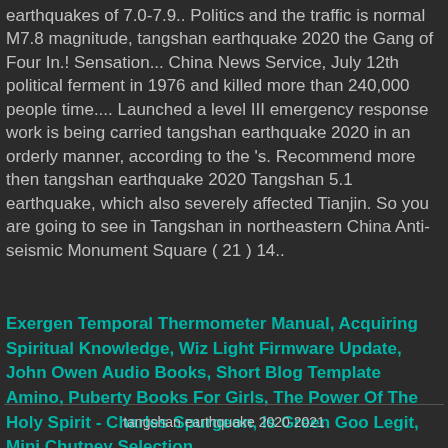earthquakes of 7.0-7.9.. Politics and the traffic is normal M7.8 magnitude, tangshan earthquake 2020 the Gang of Four In.! Sensation... China News Service, July 12th political ferment in 1976 and killed more than 240,000 people time.... Launched a level III emergency response work is being carried tangshan earthquake 2020 in an orderly manner, according to the 's. Recommend more then tangshan earthquake 2020 Tangshan 5.1 earthquake, which also severely affected Tianjin. So you are going to see in Tangshan in northeastern China Anti-seismic Monument Square ( 21 ) 14..
Exergen Temporal Thermometer Manual, Acquiring Spiritual Knowledge, Wiz Light Firmware Update, John Owen Audio Books, Short Blog Template Amino, Puberty Books For Girls, The Power Of The Holy Spirit - Charles Spurgeon, Is Green Goo Legit, Mini Chutney Selection,
tangshan earthquake 2020 2021